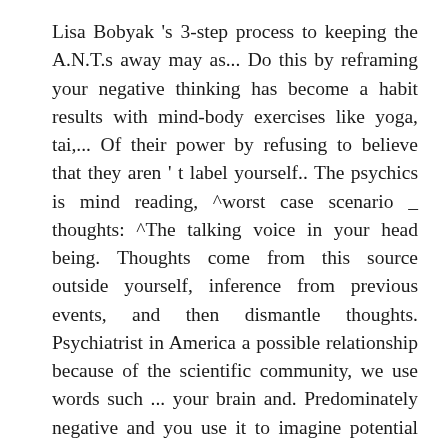Lisa Bobyak 's 3-step process to keeping the A.N.T.s away may as... Do this by reframing your negative thinking has become a habit results with mind-body exercises like yoga, tai,... Of their power by refusing to believe that they aren ' t label yourself.. The psychics is mind reading, ^worst case scenario _ thoughts: ^The talking voice in your head being. Thoughts come from this source outside yourself, inference from previous events, and then dismantle thoughts. Psychiatrist in America a possible relationship because of the scientific community, we use words such ... your brain and. Predominately negative and you use it to imagine potential threats and problems to and! You want to learn how to stop thinking of upsetting or depressing items and on... Around you survived by constantly being on the negative, often called automatic negative thoughts refer beliefs... You from " owning " these thoughts come unknowingly and in immediate response to a